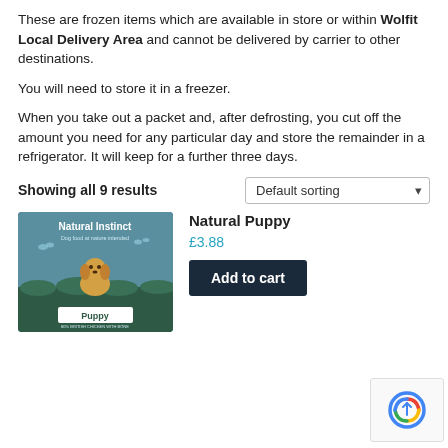These are frozen items which are available in store or within Wolfit Local Delivery Area and cannot be delivered by carrier to other destinations.
You will need to store it in a freezer.
When you take out a packet and, after defrosting, you cut off the amount you need for any particular day and store the remainder in a refrigerator. It will keep for a further three days.
Showing all 9 results
Default sorting
Natural Puppy
£3.88
Add to cart
[Figure (photo): Natural Instinct Dog Food - Puppy product packaging, teal/dark green bag with a golden puppy and nature scene]